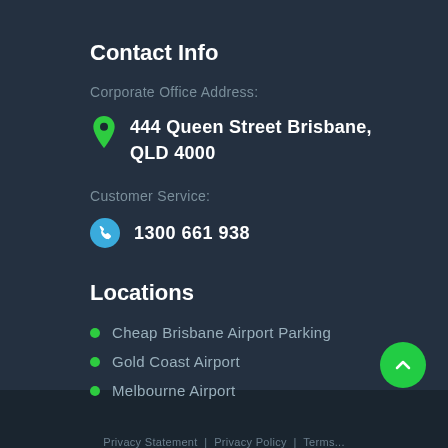Contact Info
Corporate Office Address:
444 Queen Street Brisbane, QLD 4000
Customer Service:
1300 661 938
Locations
Cheap Brisbane Airport Parking
Gold Coast Airport
Melbourne Airport
Privacy Statement | Privacy Policy | Terms...